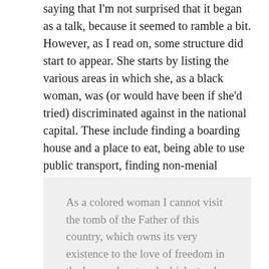saying that I'm not surprised that it began as a talk, because it seemed to ramble a bit. However, as I read on, some structure did start to appear. She starts by listing the various areas in which she, as a black woman, was (or would have been if she'd tried) discriminated against in the national capital. These include finding a boarding house and a place to eat, being able to use public transport, finding non-menial employment, being able to attend the theatre or a white church, and gaining an education. She introduces her section on transport as follows:
As a colored woman I cannot visit the tomb of the Father of this country, which owns its very existence to the love of freedom in the human heart and which stands for equal